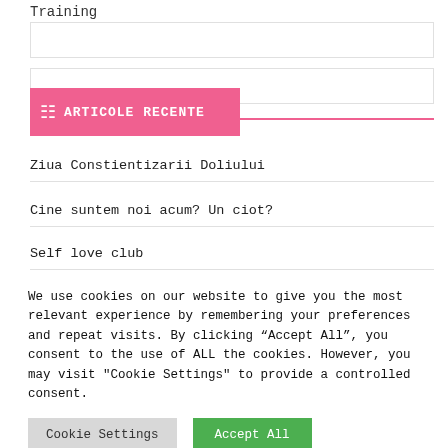Training
ARTICOLE RECENTE
Ziua Constientizarii Doliului
Cine suntem noi acum? Un ciot?
Self love club
We use cookies on our website to give you the most relevant experience by remembering your preferences and repeat visits. By clicking “Accept All”, you consent to the use of ALL the cookies. However, you may visit "Cookie Settings" to provide a controlled consent.
Cookie Settings
Accept All